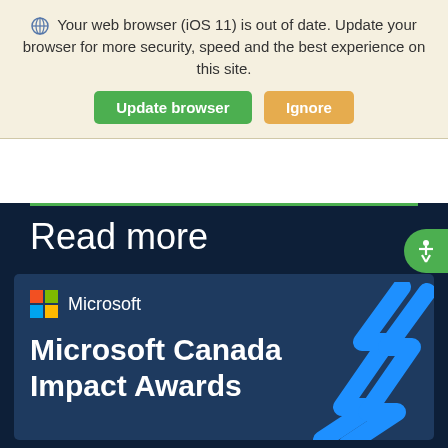Your web browser (iOS 11) is out of date. Update your browser for more security, speed and the best experience on this site.
Update browser  Ignore
Read more
[Figure (screenshot): Microsoft Canada Impact Awards card with Microsoft logo (four-color squares) and lightning bolt graphic decoration on a dark blue background]